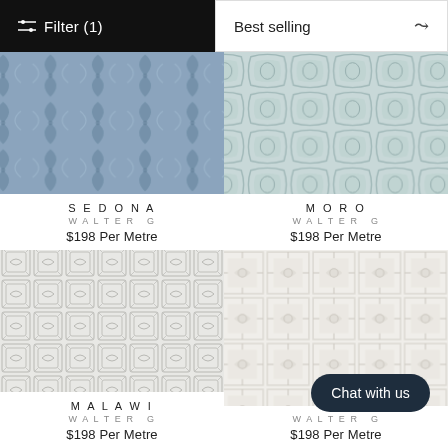Filter (1)
Best selling
[Figure (photo): Blue/grey patterned fabric swatch - Sedona by Walter G]
SEDONA
WALTER G
$198 Per Metre
[Figure (photo): Light grey/teal patterned fabric swatch - Moro by Walter G]
MORO
WALTER G
$198 Per Metre
[Figure (photo): White/light grey maze/key pattern fabric swatch - Malawi by Walter G]
MALAWI
WALTER G
$198 Per Metre
[Figure (photo): White/off-white tile pattern fabric swatch - fourth product by Walter G]
WALTER G
$198 Per Metre
Chat with us